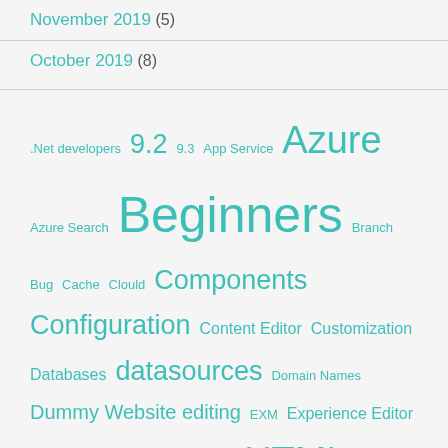November 2019 (5)
October 2019 (8)
.Net developers 9.2 9.3 App Service Azure Azure Search Beginners Branch Bug Cache Clould Components Configuration Content Editor Customization Databases datasources Domain Names Dummy Website editing EXM Experience Editor Field Types Forms Helix HTML Indexes Information Architecture Infrastructure Installation Introduction Items Layout Learning License Logs Marketplace Media Library Module Multilingual Multisite News OData PaaS Package Pages Placeholders Plugin prerequisites